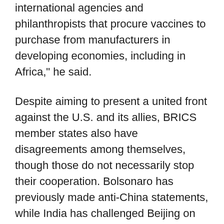international agencies and philanthropists that procure vaccines to purchase from manufacturers in developing economies, including in Africa," he said.
Despite aiming to present a united front against the U.S. and its allies, BRICS member states also have disagreements among themselves, though those do not necessarily stop their cooperation. Bolsonaro has previously made anti-China statements, while India has challenged Beijing on its disputed Ladakh border.